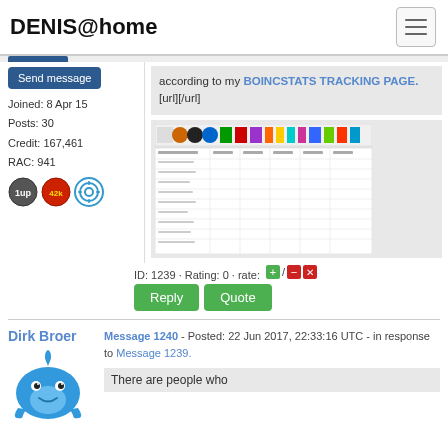DENIS@home
Send message
Joined: 8 Apr 15
Posts: 30
Credit: 167,461
RAC: 941
according to my BOINCSTATS TRACKING PAGE.[url][/url]
[Figure (screenshot): Screenshot of a BOINCSTATS tracking page showing a colorful banner and a data table with rows of project statistics.]
ID: 1239 · Rating: 0 · rate:
Reply
Quote
Dirk Broer
Message 1240 - Posted: 22 Jun 2017, 22:33:16 UTC - in response to Message 1239.
[Figure (illustration): Blue cartoon whale avatar for user Dirk Broer]
There are people who